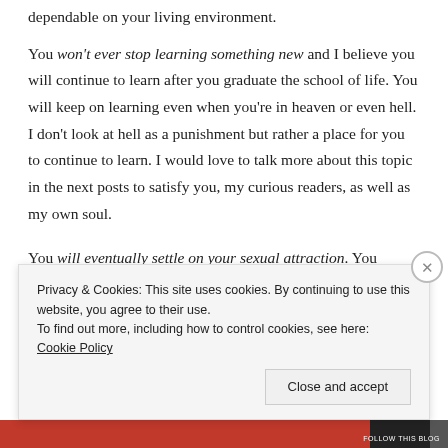dependable on your living environment.
You won't ever stop learning something new and I believe you will continue to learn after you graduate the school of life. You will keep on learning even when you're in heaven or even hell. I don't look at hell as a punishment but rather a place for you to continue to learn. I would love to talk more about this topic in the next posts to satisfy you, my curious readers, as well as my own soul.
You will eventually settle on your sexual attraction. You
Privacy & Cookies: This site uses cookies. By continuing to use this website, you agree to their use.
To find out more, including how to control cookies, see here: Cookie Policy